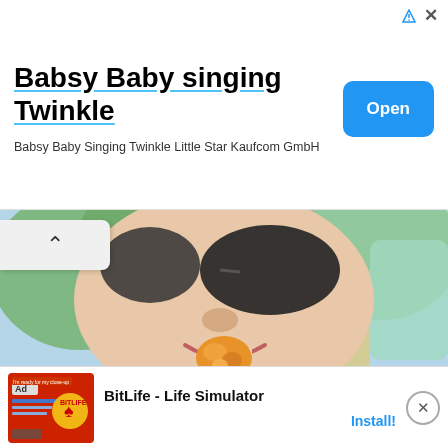[Figure (screenshot): Top ad banner: Babsy Baby singing Twinkle app ad with blue Open button]
Babsy Baby singing Twinkle
Babsy Baby Singing Twinkle Little Star Kaufcom GmbH
[Figure (photo): Close-up photo of a child wearing sunglasses and a rainbow shirt, holding a snack, smiling outdoors]
[Figure (screenshot): Bottom ad banner: BitLife - Life Simulator app ad with Install button]